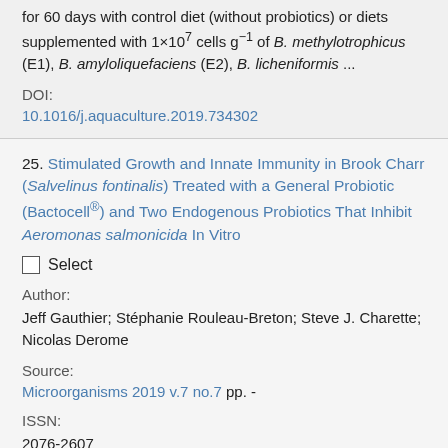for 60 days with control diet (without probiotics) or diets supplemented with 1×10⁷ cells g⁻¹ of B. methylotrophicus (E1), B. amyloliquefaciens (E2), B. licheniformis ...
DOI:
10.1016/j.aquaculture.2019.734302
25. Stimulated Growth and Innate Immunity in Brook Charr (Salvelinus fontinalis) Treated with a General Probiotic (Bactocell®) and Two Endogenous Probiotics That Inhibit Aeromonas salmonicida In Vitro
Select
Author:
Jeff Gauthier; Stéphanie Rouleau-Breton; Steve J. Charette; Nicolas Derome
Source:
Microorganisms 2019 v.7 no.7 pp. -
ISSN:
2076-2607